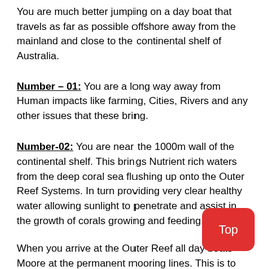You are much better jumping on a day boat that travels as far as possible offshore away from the mainland and close to the continental shelf of Australia.
Number – 01: You are a long way away from Human impacts like farming, Cities, Rivers and any other issues that these bring.
Number-02: You are near the 1000m wall of the continental shelf. This brings Nutrient rich waters from the deep coral sea flushing up onto the Outer Reef Systems. In turn providing very clear healthy water allowing sunlight to penetrate and assist in the growth of corals growing and feeding.
When you arrive at the Outer Reef all day boats Moore at the permanent mooring lines. This is to save